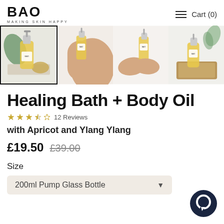BAO MAKING SKIN HAPPY
[Figure (photo): Product image strip showing four thumbnail photos of BAO Healing Bath + Body Oil: bottle with pump on white tray with leaf, person applying oil to shoulder, hands with oil bottle, bottle on wooden tray with eucalyptus.]
Healing Bath + Body Oil
12 Reviews
with Apricot and Ylang Ylang
£19.50  £39.00
Size
200ml Pump Glass Bottle